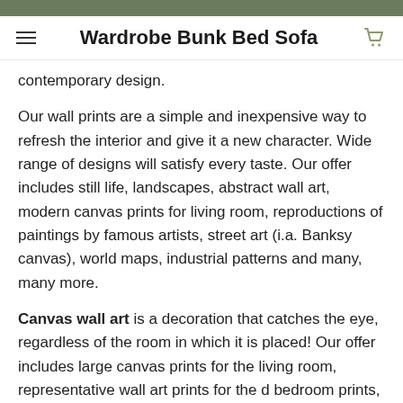Wardrobe Bunk Bed Sofa
contemporary design.
Our wall prints are a simple and inexpensive way to refresh the interior and give it a new character. Wide range of designs will satisfy every taste. Our offer includes still life, landscapes, abstract wall art, modern canvas prints for living room, reproductions of paintings by famous artists, street art (i.a. Banksy canvas), world maps, industrial patterns and many, many more.
Canvas wall art is a decoration that catches the eye, regardless of the room in which it is placed! Our offer includes large canvas prints for the living room, representative wall art prints for the d... bedroom prints, canvas pictures pers... ior and bringing in a unique atmosphere, joyful wall canvas for the childs room, etc. The canvas print can also